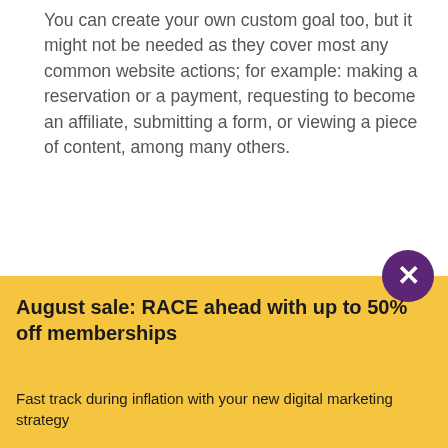You can create your own custom goal too, but it might not be needed as they cover most any common website actions; for example: making a reservation or a payment, requesting to become an affiliate, submitting a form, or viewing a piece of content, among many others.
You then have the option to set 4 different types of goals:
Specific link/destination
Duration and time spent on a certain page
Number of pages visited per session
Taking a certain action
And finally, as I mentioned before, you can set monetary
August sale: RACE ahead with up to 50% off memberships
Fast track during inflation with your new digital marketing strategy